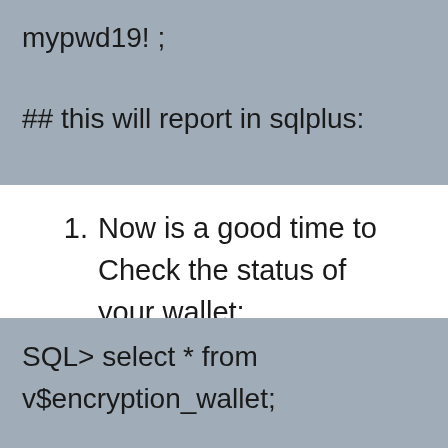mypwd19! ;
## this will report in sqlplus:
keystore altered.
Now is a good time to Check the status of your wallet:
SQL> select * from v$encryption_wallet;
WRL_TYPE